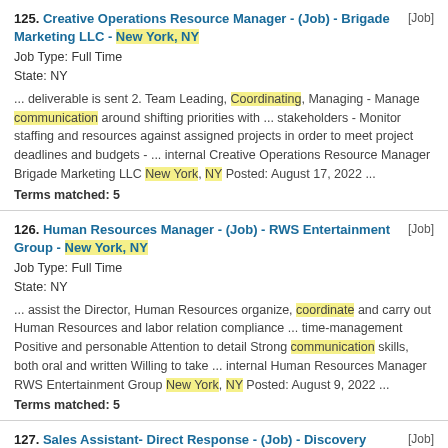125. Creative Operations Resource Manager - (Job) - Brigade Marketing LLC - New York, NY [Job] Job Type: Full Time State: NY ... deliverable is sent 2. Team Leading, Coordinating, Managing - Manage communication around shifting priorities with ... stakeholders - Monitor staffing and resources against assigned projects in order to meet project deadlines and budgets - ... internal Creative Operations Resource Manager Brigade Marketing LLC New York, NY Posted: August 17, 2022 ... Terms matched: 5
126. Human Resources Manager - (Job) - RWS Entertainment Group - New York, NY [Job] Job Type: Full Time State: NY ... assist the Director, Human Resources organize, coordinate and carry out Human Resources and labor relation compliance ... time-management Positive and personable Attention to detail Strong communication skills, both oral and written Willing to take ... internal Human Resources Manager RWS Entertainment Group New York, NY Posted: August 9, 2022 ... Terms matched: 5
127. Sales Assistant- Direct Response - (Job) - Discovery Communications - New York, NY [Job] Job Type: Full Time State: NY